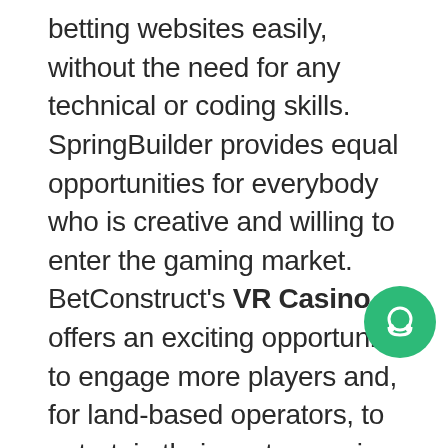betting websites easily, without the need for any technical or coding skills. SpringBuilder provides equal opportunities for everybody who is creative and willing to enter the gaming market. BetConstruct's VR Casino offers an exciting opportunity to engage more players and, for land-based operators, to entertain their customers in special lounges where they can play their favo blockbuster VR slots from the casino f The award ceremony will take place on February 5, 2018 in Grosvenor House, London, UK.